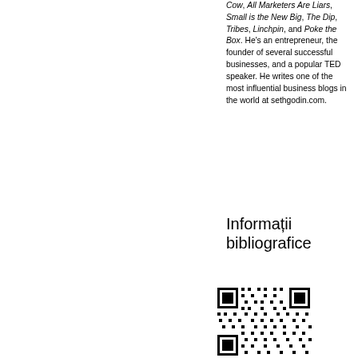Cow, All Marketers Are Liars, Small is the New Big, The Dip, Tribes, Linchpin, and Poke the Box. He's an entrepreneur, the founder of several successful businesses, and a popular TED speaker. He writes one of the most influential business blogs in the world at sethgodin.com.
Informații bibliografice
[Figure (other): QR code for bibliographic information]